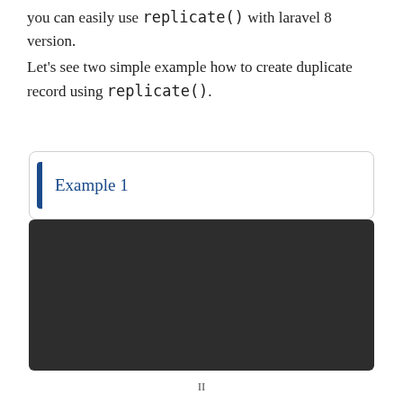you can easily use replicate() with laravel 8 version.
Let's see two simple example how to create duplicate record using replicate().
Example 1
[Figure (screenshot): Dark code editor block showing code example for Laravel replicate()]